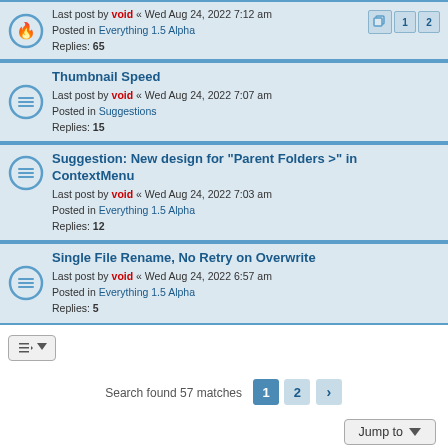Last post by void « Wed Aug 24, 2022 7:12 am
Posted in Everything 1.5 Alpha
Replies: 65
Thumbnail Speed
Last post by void « Wed Aug 24, 2022 7:07 am
Posted in Suggestions
Replies: 15
Suggestion: New design for "Parent Folders >" in ContextMenu
Last post by void « Wed Aug 24, 2022 7:03 am
Posted in Everything 1.5 Alpha
Replies: 12
Single File Rename, No Retry on Overwrite
Last post by void « Wed Aug 24, 2022 6:57 am
Posted in Everything 1.5 Alpha
Replies: 5
Search found 57 matches  1  2  >
Jump to
Home · Board index   Contact us   Delete cookies   All times are UTC
Powered by phpBB® Forum Software © phpBB Limited
Privacy | Terms